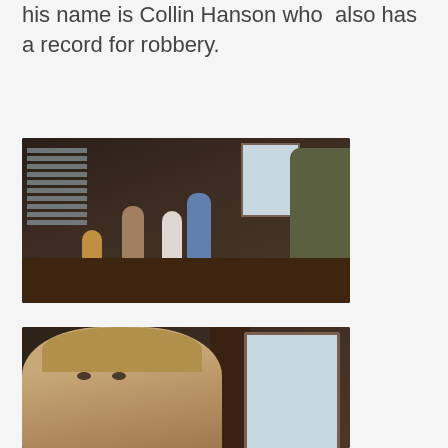his name is Collin Hanson who also has a record for robbery.
[Figure (photo): Scene from a TV show showing several people in an office setting with wood paneling, blinds, and desks. Multiple characters visible including one seated and one large figure on the right.]
[Figure (photo): Close-up of a man with light brown hair looking forward with a serious expression, in a wood-paneled room with a door visible in the background.]